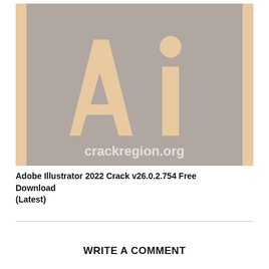[Figure (logo): Adobe Illustrator logo with large 'Ai' letters on a gray background with orange/peach border accents and 'crackregion.org' text at the bottom]
Adobe Illustrator 2022 Crack v26.0.2.754 Free Download (Latest)
WRITE A COMMENT